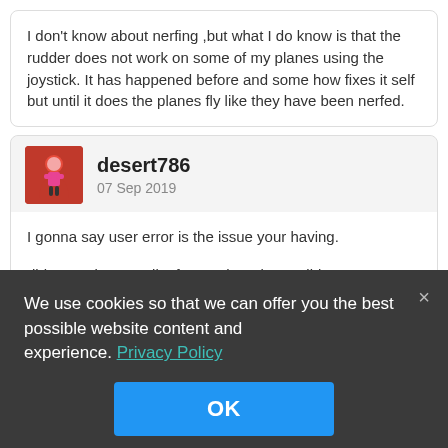I don't know about nerfing ,but what I do know is that the rudder does not work on some of my planes using the joystick. It has happened before and some how fixes it self but until it does the planes fly like they have been nerfed.
desert786
07 Sep 2019
I gonna say user error is the issue your having.

did u retrain your pilot for another plane? did u remove your equipment?

Did u play a bunch of bi-planes and then the 1101. going from very maneuverable planes to top tier planes can mess with u. heck some
We use cookies so that we can offer you the best possible website content and experience. Privacy Policy
OK